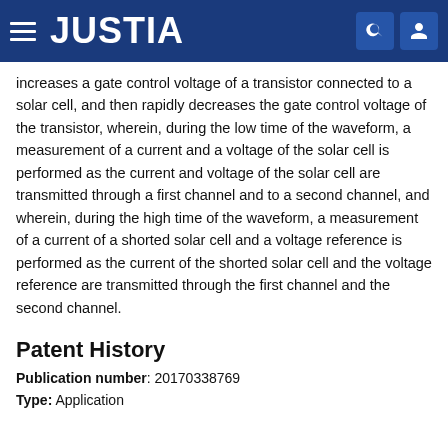JUSTIA
increases a gate control voltage of a transistor connected to a solar cell, and then rapidly decreases the gate control voltage of the transistor, wherein, during the low time of the waveform, a measurement of a current and a voltage of the solar cell is performed as the current and voltage of the solar cell are transmitted through a first channel and to a second channel, and wherein, during the high time of the waveform, a measurement of a current of a shorted solar cell and a voltage reference is performed as the current of the shorted solar cell and the voltage reference are transmitted through the first channel and the second channel.
Patent History
Publication number: 20170338769
Type: Application